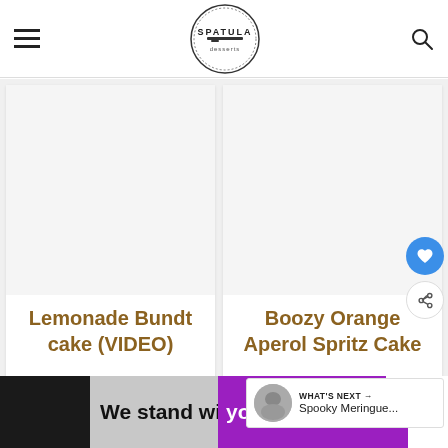Spatula Desserts
[Figure (illustration): Lemonade Bundt cake recipe card with white image area]
Lemonade Bundt cake (VIDEO)
[Figure (illustration): Boozy Orange Aperol Spritz Cake recipe card with white image area]
Boozy Orange Aperol Spritz Cake
WHAT'S NEXT → Spooky Meringue...
[Figure (infographic): Advertisement banner: We stand with you.]